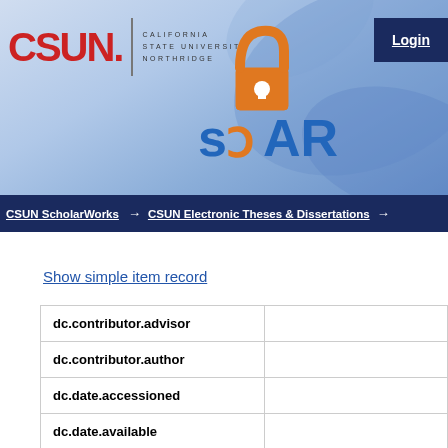[Figure (logo): CSUN ScholarWorks SOAR repository header banner with CSUN logo on the left, SOAR open-access logo on the right, and a Login button in the top-right corner]
CSUN ScholarWorks → CSUN Electronic Theses & Dissertations →
Show simple item record
| Field | Value |
| --- | --- |
| dc.contributor.advisor |  |
| dc.contributor.author |  |
| dc.date.accessioned |  |
| dc.date.available |  |
| dc.date.copyright |  |
| dc.date.issued |  |
| dc.identifier.uri | http:// |
| dc.description | California State Univ... |